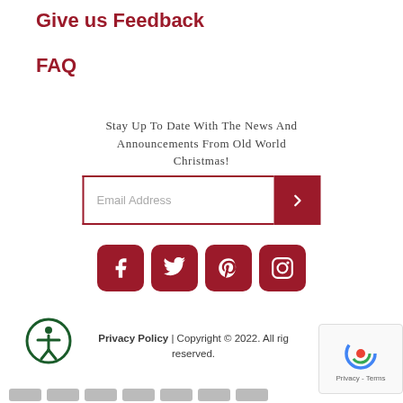Give us Feedback
FAQ
Stay Up To Date With The News And Announcements From Old World Christmas!
[Figure (other): Email address input field with submit button (arrow) and social media icons: Facebook, Twitter, Pinterest, Instagram]
Privacy Policy | Copyright © 2022. All rights reserved.